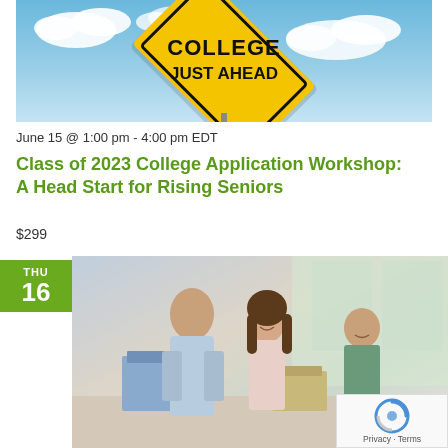[Figure (photo): Yellow diamond road sign reading 'COLLEGE JUST AHEAD' against a blue cloudy sky]
June 15 @ 1:00 pm - 4:00 pm EDT
Class of 2023 College Application Workshop: A Head Start for Rising Seniors
$299
[Figure (photo): Young man packing boxes with smiling woman and man in background, indoor setting]
[Figure (other): reCAPTCHA widget overlay with Privacy and Terms text]